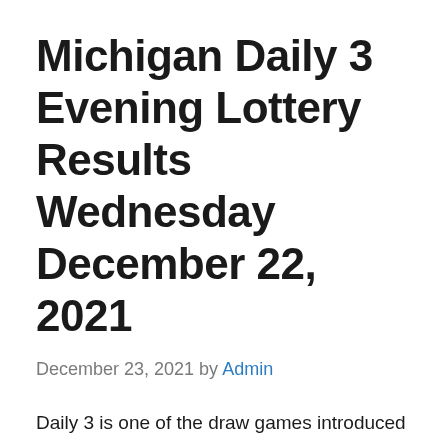Michigan Daily 3 Evening Lottery Results Wednesday December 22, 2021
December 23, 2021 by Admin
Daily 3 is one of the draw games introduced